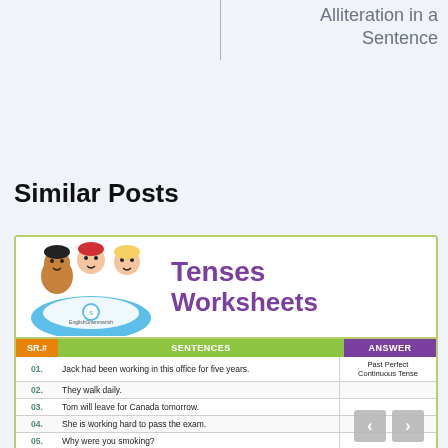Alliteration in a Sentence
Similar Posts
[Figure (illustration): Educational worksheet thumbnail showing cartoon children and a 'Tenses Worksheets' title with a table of sentences and answers including: 01. Jack had been working in this office for five years. (Past Perfect Continuous Tense), 02. They walk daily., 03. Tom will leave for Canada tomorrow., 04. She is working hard to pass the exam., 05. Why were you smoking?, 06. He has been playing the chess since evening.]